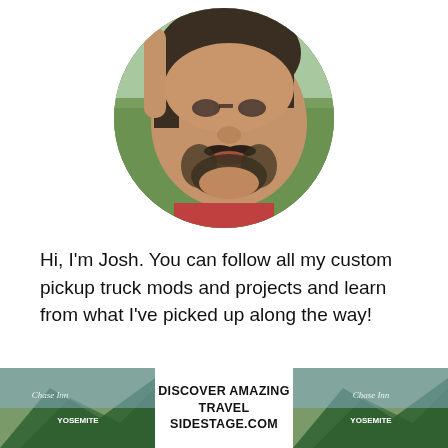[Figure (photo): Circular cropped profile photo of a man with a beard and mustache, smiling, outdoors with green background]
Hi, I'm Josh. You can follow all my custom pickup truck mods and projects and learn from what I've picked up along the way!
[Figure (photo): Advertisement banner: 'DISCOVER AMAZING TRAVEL SIDESTAGE.COM' with two mountain/landscape photos on either side]